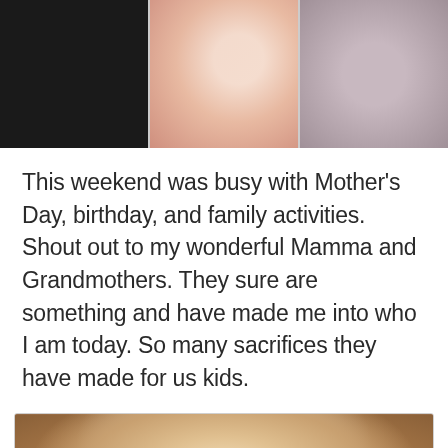[Figure (photo): Three photos side by side: left photo is very dark/black, center photo shows a blurred person with colorful/patterned clothing, right photo shows a blurred person with dark hair]
This weekend was busy with Mother's Day, birthday, and family activities. Shout out to my wonderful Mamma and Grandmothers. They sure are something and have made me into who I am today. So many sacrifices they have made for us kids.
[Figure (photo): Portrait photo of a woman with blonde/light brown hair, appearing to be a formal or professional portrait with a warm brown background]